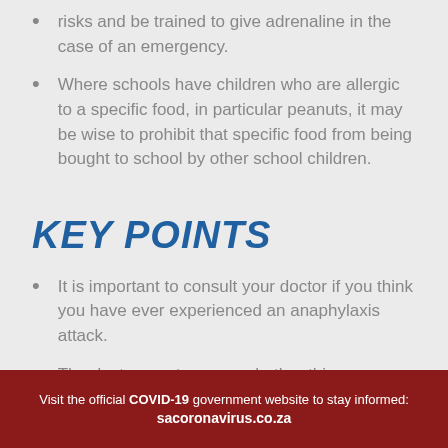risks and be trained to give adrenaline in the case of an emergency.
Where schools have children who are allergic to a specific food, in particular peanuts, it may be wise to prohibit that specific food from being bought to school by other school children.
KEY POINTS
It is important to consult your doctor if you think you have ever experienced an anaphylaxis attack.
The doctor must assess whether this was
Visit the official COVID-19 government website to stay informed: sacoronavirus.co.za